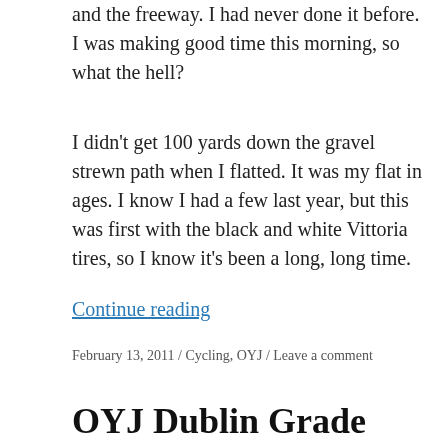and the freeway. I had never done it before. I was making good time this morning, so what the hell?
I didn't get 100 yards down the gravel strewn path when I flatted. It was my flat in ages. I know I had a few last year, but this was first with the black and white Vittoria tires, so I know it's been a long, long time.
Continue reading
February 13, 2011 / Cycling, OYJ / Leave a comment
OYJ Dublin Grade 2011